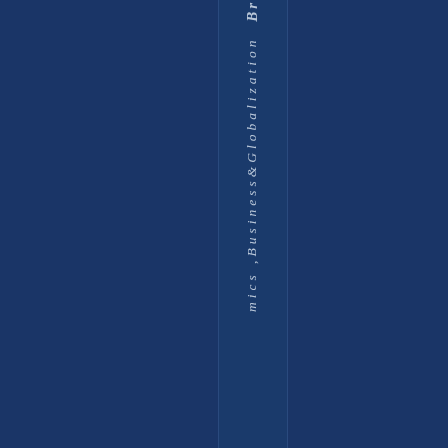mics ,Business&Globalization Br